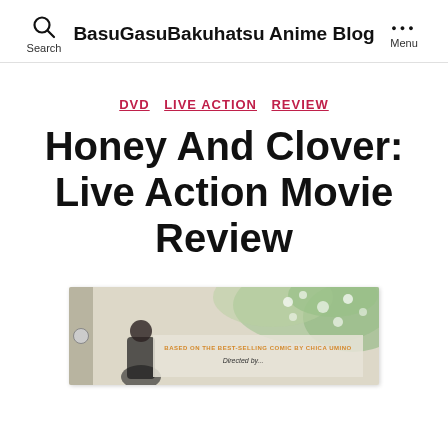BasuGasuBakuhatsu Anime Blog
DVD  LIVE ACTION  REVIEW
Honey And Clover: Live Action Movie Review
[Figure (photo): DVD cover of Honey And Clover live action movie showing floral illustration and text: BASED ON THE BEST-SELLING COMIC BY CHICA UMINO, Directed by...]